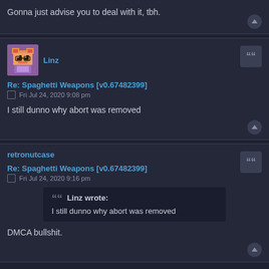Gonna just advise you to deal with it, tbh.
Linz
Re: Spaghetti Weapons [v0.67482399]
Fri Jul 24, 2020 9:08 pm
I still dunno why abort was removed
retronutcase
Re: Spaghetti Weapons [v0.67482399]
Fri Jul 24, 2020 9:16 pm
Linz wrote:
I still dunno why abort was removed
DMCA bullshit.